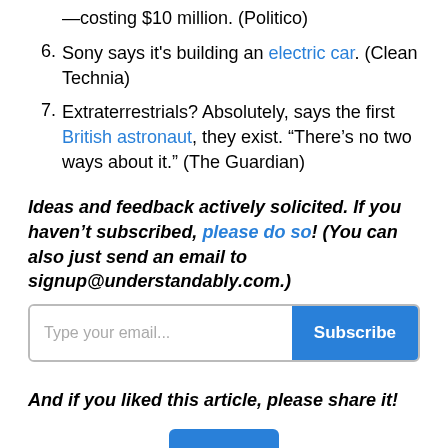—costing $10 million. (Politico)
6. Sony says it's building an electric car. (Clean Technia)
7. Extraterrestrials? Absolutely, says the first British astronaut, they exist. “There’s no two ways about it.” (The Guardian)
Ideas and feedback actively solicited. If you haven’t subscribed, please do so! (You can also just send an email to signup@understandably.com.)
And if you liked this article, please share it!